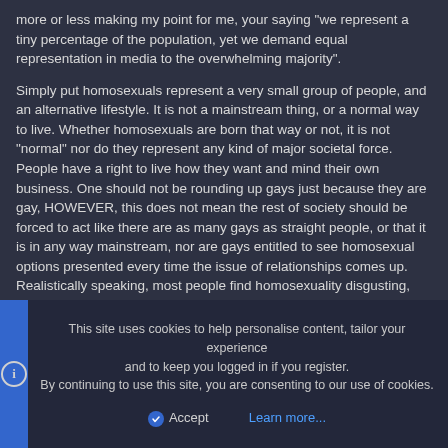more or less making my point for me, your saying "we represent a tiny percentage of the population, yet we demand equal representation in media to the overwhelming majority".
Simply put homosexuals represent a very small group of people, and an alternative lifestyle. It is not a mainstream thing, or a normal way to live. Whether homosexuals are born that way or not, it is not "normal" nor do they represent any kind of major societal force. People have a right to live how they want and mind their own business. One should not be rounding up gays just because they are gay, HOWEVER, this does not mean the rest of society should be forced to act like there are as many gays as straight people, or that it is in any way mainstream, nor are gays entitled to see homosexual options presented every time the issue of relationships comes up. Realistically speaking, most people find homosexuality disgusting, and try to avoid it, however they don't care what homosexuals do as long as it doesn't involve them. As a result it can be a detriment to a product to wave this garbage around in someone's face whenever romance comes up, because to your typical guy watching two dudes
This site uses cookies to help personalise content, tailor your experience and to keep you logged in if you register.
By continuing to use this site, you are consenting to our use of cookies.
Accept
Learn more...